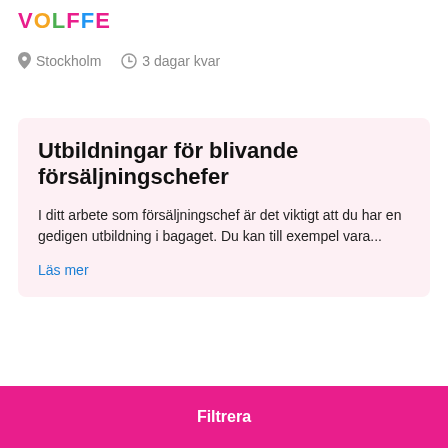[Figure (logo): Colorful logo with letters spelling VOLFFE or similar brand name in pink, orange, green, pink, blue, pink colors]
Stockholm   3 dagar kvar
Utbildningar för blivande försäljningschefer
I ditt arbete som försäljningschef är det viktigt att du har en gedigen utbildning i bagaget. Du kan till exempel vara...
Läs mer
Filtrera